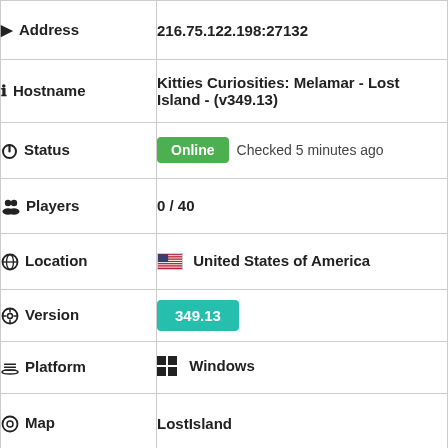| Field | Value |
| --- | --- |
| ▶ Address | 216.75.122.198:27132 |
| ℹ Hostname | Kitties Curiosities: Melamar - Lost Island - (v349.13) |
| ⏻ Status | Online  Checked 5 minutes ago |
| 👥 Players | 0 / 40 |
| 🌐 Location | 🇺🇸 United States of America |
| ⚙ Version | 349.13 |
| 🗄 Platform | Windows |
| ⊙ Map | LostIsland |